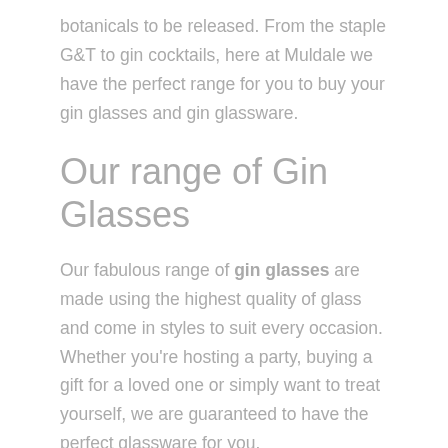botanicals to be released. From the staple G&T to gin cocktails, here at Muldale we have the perfect range for you to buy your gin glasses and gin glassware.
Our range of Gin Glasses
Our fabulous range of gin glasses are made using the highest quality of glass and come in styles to suit every occasion. Whether you're hosting a party, buying a gift for a loved one or simply want to treat yourself, we are guaranteed to have the perfect glassware for you.
We stock gin glasses in a variety of designs, including quirky goblets, stunning stem glasses, trendy tumblers and your more traditional Copa glasses